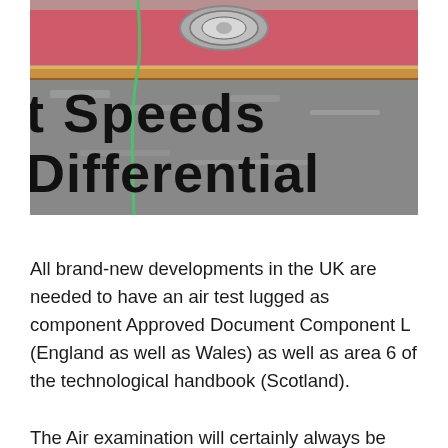[Figure (photo): Photo of building insulation and equipment installation showing pink insulation material, a fan/duct unit at top, wooden framing, and rubble/debris with text overlaid reading 't Speeds Differential' in bold black letters]
All brand-new developments in the UK are needed to have an air test lugged as component Approved Document Component L (England as well as Wales) as well as area 6 of the technological handbook (Scotland).
The Air examination will certainly always be